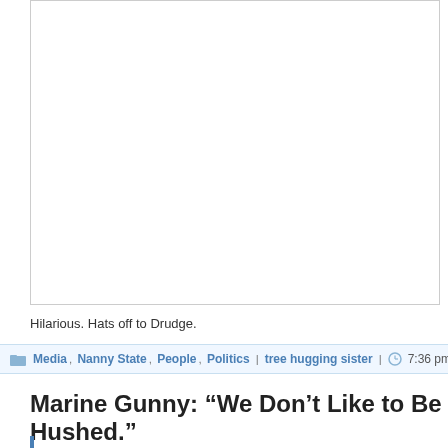[Figure (other): Large white/blank image box with border, likely a screenshot or embedded video that did not load]
Hilarious. Hats off to Drudge.
Media, Nanny State, People, Politics | tree hugging sister | 7:36 pm | Comments
Marine Gunny: “We Don’t Like to Be Hushed.”